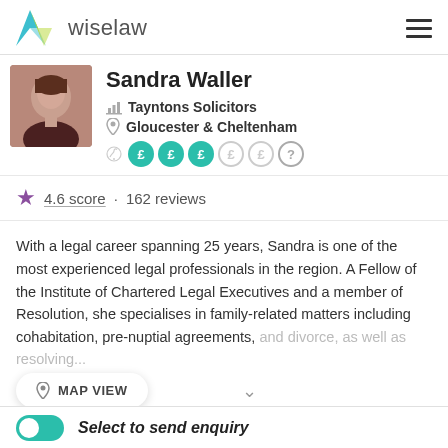wiselaw
Sandra Waller
Tayntons Solicitors
Gloucester & Cheltenham
4.6 score · 162 reviews
With a legal career spanning 25 years, Sandra is one of the most experienced legal professionals in the region. A Fellow of the Institute of Chartered Legal Executives and a member of Resolution, she specialises in family-related matters including cohabitation, pre-nuptial agreements, and divorce, as well as resolving...
MAP VIEW
Select to send enquiry